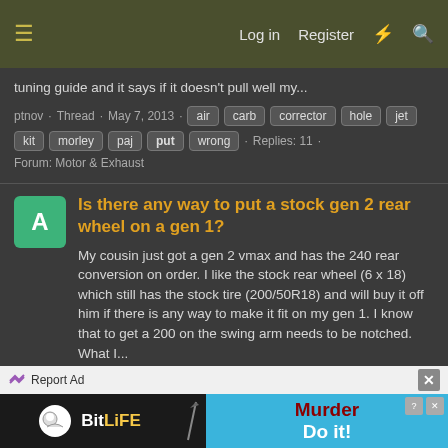Log in  Register
tuning guide and it says if it doesn't pull well my...
ptnov · Thread · May 7, 2013 · air carb corrector hole jet kit morley paj put wrong · Replies: 11 · Forum: Motor & Exhaust
Is there any way to put a stock gen 2 rear wheel on a gen 1?
My cousin just got a gen 2 vmax and has the 240 rear conversion on order. I like the stock rear wheel (6 x 18) which still has the stock tire (200/50R18) and will buy it off him if there is any way to make it fit on my gen 1. I know that to get a 200 on the swing arm needs to be notched. What I...
AMechEng · Thread · Mar 4, 2013 · gen put rear stock wheel · Replies: 10 · Forum: Wheels, Tires & Suspension
Report Ad